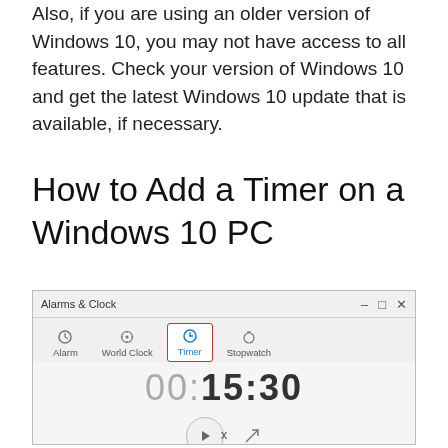Also, if you are using an older version of Windows 10, you may not have access to all features. Check your version of Windows 10 and get the latest Windows 10 update that is available, if necessary.
How to Add a Timer on a Windows 10 PC
[Figure (screenshot): Screenshot of Windows 10 Alarms & Clock application showing the Timer tab selected with a red border highlight. The timer displays '00:15:30' with play and expand buttons below.]
x